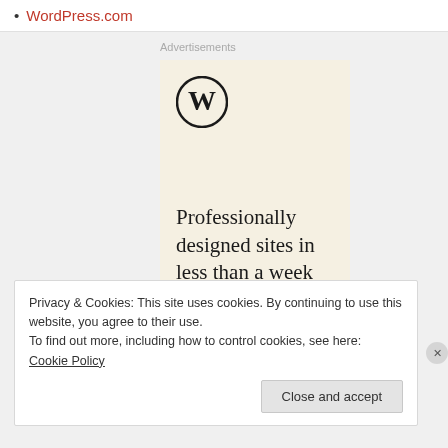WordPress.com
Advertisements
[Figure (logo): WordPress.com advertisement with WordPress logo (W in circle) and tagline: Professionally designed sites in less than a week, on a cream/beige background]
Privacy & Cookies: This site uses cookies. By continuing to use this website, you agree to their use.
To find out more, including how to control cookies, see here: Cookie Policy
Close and accept